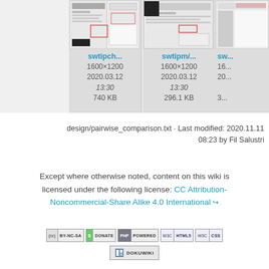[Figure (screenshot): Thumbnail card for swtipch... file, 1600×1200, 2020.03.12 13:30, 740 KB]
[Figure (screenshot): Thumbnail card for swtipmi... file, 1600×1200, 2020.03.12 13:30, 296.1 KB]
[Figure (screenshot): Partial thumbnail card for sw... file]
design/pairwise_comparison.txt · Last modified: 2020.11.11 08:23 by Fil Salustri
Except where otherwise noted, content on this wiki is licensed under the following license: CC Attribution-Noncommercial-Share Alike 4.0 International
[Figure (logo): CC BY-NC-SA badge]
[Figure (logo): Donate badge]
[Figure (logo): PHP Powered badge]
[Figure (logo): WSC HTML5 badge]
[Figure (logo): WSC CSS badge]
[Figure (logo): DokuWiki badge]